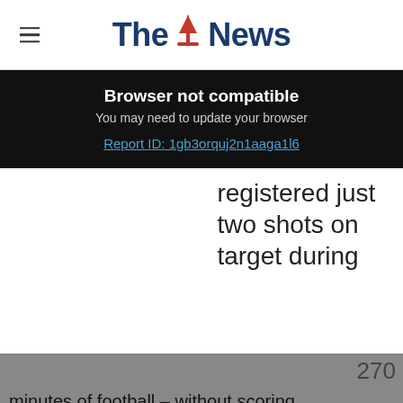The News
Browser not compatible
You may need to update your browser
Report ID: 1gb3orquj2n1aaga1l6
registered just two shots on target during 270 minutes of football – without scoring.
50% off an annual sports digital subscription  Subscribe